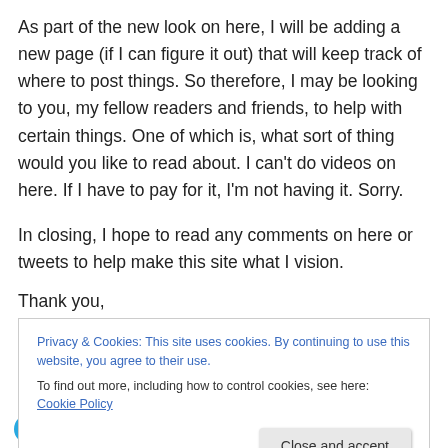As part of the new look on here, I will be adding a new page (if I can figure it out) that will keep track of where to post things.  So therefore, I may be looking to you, my fellow readers and friends, to help with certain things.  One of which is, what sort of thing would you like to read about.  I can't do videos on here.  If I have to pay for it, I'm not having it.  Sorry.
In closing, I hope to read any comments on here or tweets to help make this site what I vision.
Thank you,
Privacy & Cookies: This site uses cookies. By continuing to use this website, you agree to their use.
To find out more, including how to control cookies, see here: Cookie Policy
Close and accept